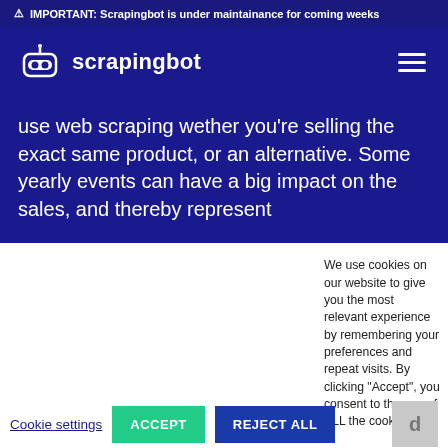⚠ IMPORTANT: Scrapingbot is under maintainance for coming weeks
[Figure (logo): Scrapingbot robot logo with text 'scrapingbot' and hamburger menu icon on dark blue navigation bar]
use web scraping wether you're selling the exact same product, or an alternative. Some yearly events can have a big impact on the sales, and thereby represent
We use cookies on our website to give you the most relevant experience by remembering your preferences and repeat visits. By clicking "Accept", you consent to the use of ALL the cookies.
Cookie settings
ACCEPT
REJECT ALL